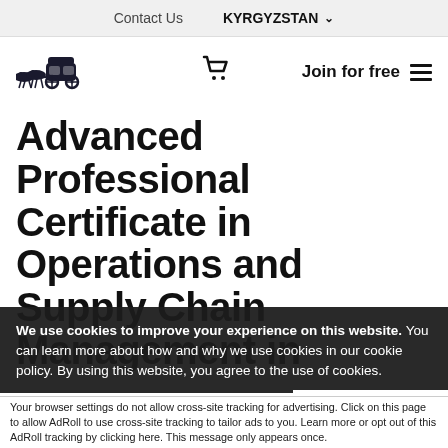Contact Us    KYRGYZSTAN
[Figure (logo): Horse-drawn carriage logo illustration]
Join for free
Advanced Professional Certificate in Operations and Supply Chain Management in
We use cookies to improve your experience on this website. You can learn more about how and why we use cookies in our cookie policy. By using this website, you agree to the use of cookies.
Accept and Close ×
Your browser settings do not allow cross-site tracking for advertising. Click on this page to allow AdRoll to use cross-site tracking to tailor ads to you. Learn more or opt out of this AdRoll tracking by clicking here. This message only appears once.